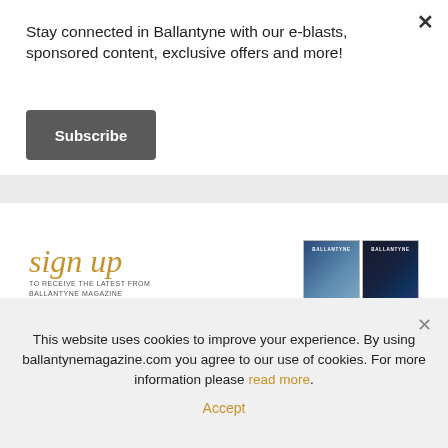Stay connected in Ballantyne with our e-blasts, sponsored content, exclusive offers and more!
Subscribe
[Figure (infographic): Sign up banner for Ballantyne Magazine with script text 'sign up', tagline 'TO RECEIVE THE LATEST FROM BALLANTYNE MAGAZINE', a 'CLICK HERE' button, and two magazine covers on the right.]
This website uses cookies to improve your experience. By using ballantynemagazine.com you agree to our use of cookies. For more information please read more.
Accept